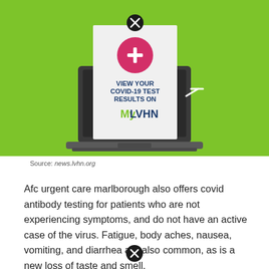[Figure (infographic): Green background infographic showing a laptop with a document on screen. The document has a red circle with a white plus sign, then text reading 'VIEW YOUR COVID-19 TEST RESULTS ON' in dark blue bold, followed by 'MyLVHN' in green and dark blue lettering. A black circle with X (close button) appears at top center above the laptop. Sparkle/flash symbol appears to the right of the laptop screen.]
Source: news.lvhn.org
Afc urgent care marlborough also offers covid antibody testing for patients who are not experiencing symptoms, and do not have an active case of the virus. Fatigue, body aches, nausea, vomiting, and diarrhea are also common, as is a new loss of taste and smell.